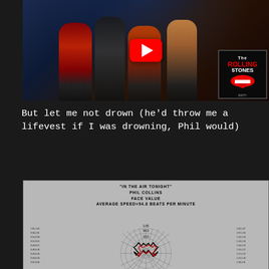[Figure (screenshot): YouTube video thumbnail showing Rolling Stones concert performance with play button overlay and Rolling Stones logo in bottom right corner]
But let me not drown (he'd throw me a lifevest if I was drowning, Phil would)
[Figure (radar-chart): Circular radar/polar chart titled 'In The Air Tonight' by Phil Collins, Face Value, Average Speed=94.8 beats per minute. Shows beat timing data in a circular pattern with red and black lines radiating from center.]